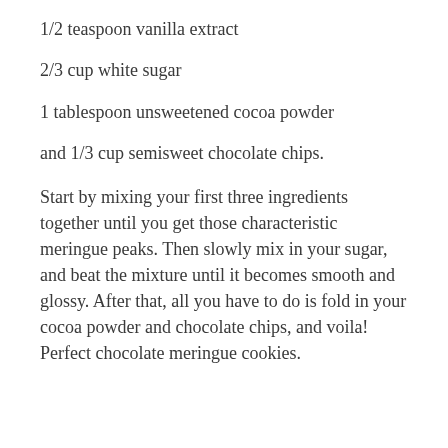1/2 teaspoon vanilla extract
2/3 cup white sugar
1 tablespoon unsweetened cocoa powder
and 1/3 cup semisweet chocolate chips.
Start by mixing your first three ingredients together until you get those characteristic meringue peaks. Then slowly mix in your sugar, and beat the mixture until it becomes smooth and glossy. After that, all you have to do is fold in your cocoa powder and chocolate chips, and voila! Perfect chocolate meringue cookies.